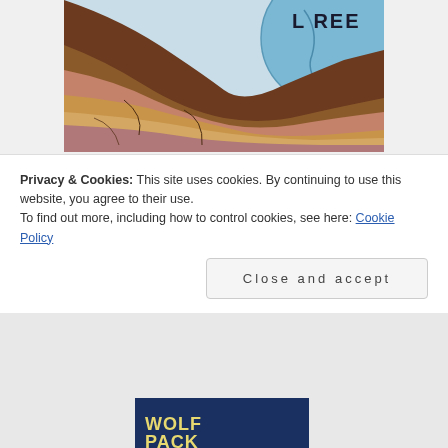[Figure (illustration): Partial book cover showing layered geological rock formations in warm browns, pinks, and oranges with a blue circular moon/earth element in the upper right corner with partial text 'L REE' visible]
WOLF PACK MOON
[Figure (illustration): Partial book cover for Wolf Pack Moon showing dark blue and green textured background, top portion of the cover]
[Figure (illustration): Partial book cover for Wolf Pack Moon showing bottom portion with text 'WOLF PACK' partially visible]
Privacy & Cookies: This site uses cookies. By continuing to use this website, you agree to their use.
To find out more, including how to control cookies, see here: Cookie Policy
Close and accept